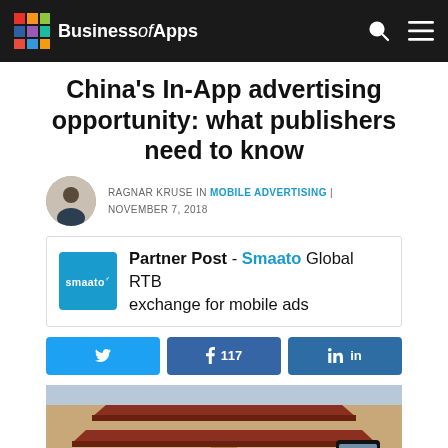BusinessofApps
China's In-App advertising opportunity: what publishers need to know
RAGNAR KRUSE IN MOBILE ADVERTISING | NOVEMBER 7, 2018
Partner Post - Smaato Global RTB exchange for mobile ads
Share buttons: Twitter, Facebook 117, LinkedIn
[Figure (photo): Photo of a traditional Chinese building with a smartphone in the foreground]